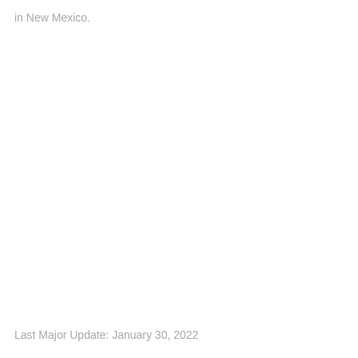in New Mexico.
Last Major Update: January 30, 2022